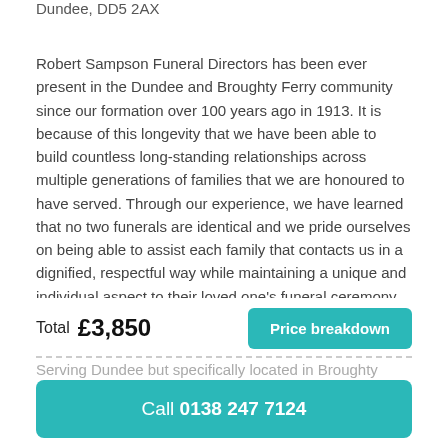Dundee, DD5 2AX
Robert Sampson Funeral Directors has been ever present in the Dundee and Broughty Ferry community since our formation over 100 years ago in 1913. It is because of this longevity that we have been able to build countless long-standing relationships across multiple generations of families that we are honoured to have served. Through our experience, we have learned that no two funerals are identical and we pride ourselves on being able to assist each family that contacts us in a dignified, respectful way while maintaining a unique and individual aspect to their loved one's funeral ceremony.
Serving Dundee but specifically located in Broughty Ferry, you
Total £3,850
Price breakdown
Call 0138 247 7124